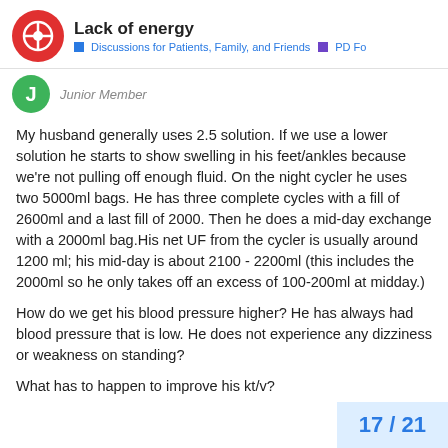Lack of energy — Discussions for Patients, Family, and Friends • PD Fo
Junior Member
My husband generally uses 2.5 solution. If we use a lower solution he starts to show swelling in his feet/ankles because we're not pulling off enough fluid. On the night cycler he uses two 5000ml bags. He has three complete cycles with a fill of 2600ml and a last fill of 2000. Then he does a mid-day exchange with a 2000ml bag.His net UF from the cycler is usually around 1200 ml; his mid-day is about 2100 - 2200ml (this includes the 2000ml so he only takes off an excess of 100-200ml at midday.)
How do we get his blood pressure higher? He has always had blood pressure that is low. He does not experience any dizziness or weakness on standing?
What has to happen to improve his kt/v?
17 / 21